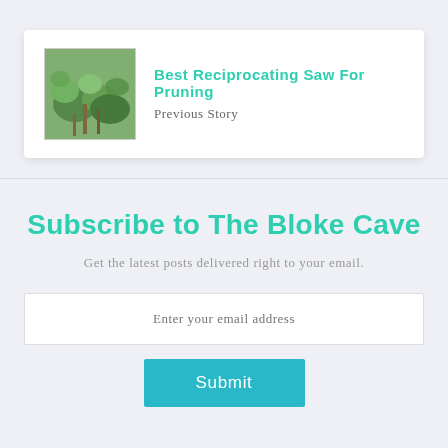[Figure (photo): Thumbnail photo of green plants/shrubs outdoors]
Best Reciprocating Saw For Pruning
Previous Story
Subscribe to The Bloke Cave
Get the latest posts delivered right to your email.
Enter your email address
Submit